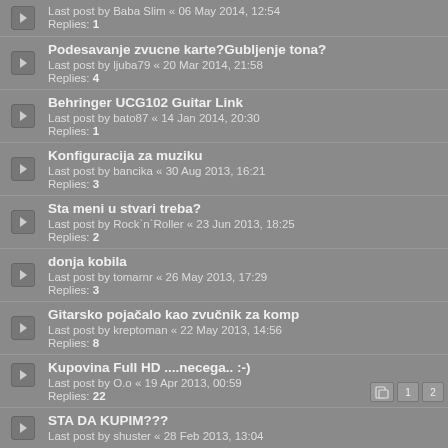Last post by Baba Slim « 06 May 2014, 12:54
Replies: 1
Podesavanje zvucne karte?Gubljenje tona?
Last post by ljuba79 « 20 Mar 2014, 21:58
Replies: 4
Behringer UCG102 Guitar Link
Last post by bato87 « 14 Jan 2014, 20:30
Replies: 1
Konfiguracija za muziku
Last post by bancika « 30 Aug 2013, 16:21
Replies: 3
Sta meni u stvari treba?
Last post by Rock`n`Roller « 23 Jun 2013, 18:25
Replies: 2
donja kobila
Last post by tomarnr « 26 May 2013, 17:29
Replies: 3
Gitarsko pojačalo kao zvučnik za komp
Last post by kreptoman « 22 May 2013, 14:56
Replies: 8
Kupovina Full HD ....necega.. :-)
Last post by O.o « 19 Apr 2013, 00:59
Replies: 22
STA DA KUPIM???
Last post by shuster « 28 Feb 2013, 13:04
Koja klavijatura mi je potrebna?
Last post by Ave « 24 Feb 2013, 12:48
Replies: 6
Kako...?